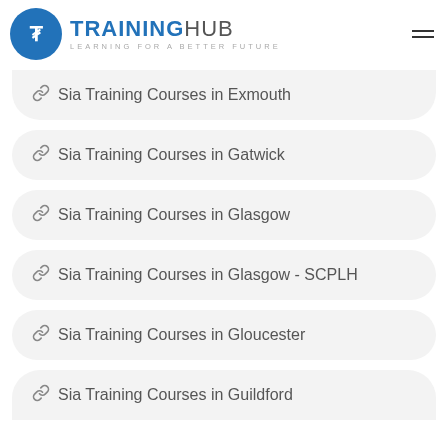[Figure (logo): TrainingHub logo with blue circle icon containing a T symbol, text TRAININGHUB and subtitle LEARNING FOR A BETTER FUTURE]
Sia Training Courses in Exmouth
Sia Training Courses in Gatwick
Sia Training Courses in Glasgow
Sia Training Courses in Glasgow - SCPLH
Sia Training Courses in Gloucester
Sia Training Courses in Guildford